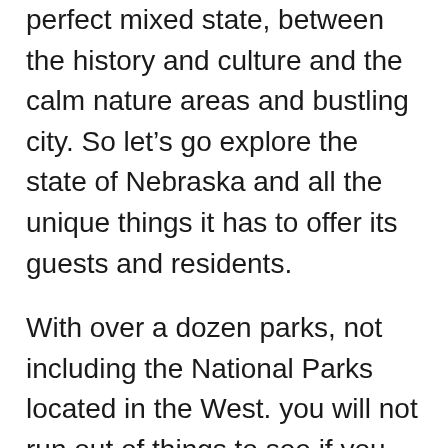perfect mixed state, between the history and culture and the calm nature areas and bustling city. So let's go explore the state of Nebraska and all the unique things it has to offer its guests and residents.
With over a dozen parks, not including the National Parks located in the West. you will not run out of things to see if you are a lover of nature. Indian Cave is one of many parks perfect for biking, hiking, camping horseback riding, or even just enjoying a nice picnic in nature. With more than 22 miles of hiking trails, there are trails for hikers of all experience levels. Or you can head to the Indian Cave and explore the carvings on the walls.
If you find yourself in Nebraska during the summer